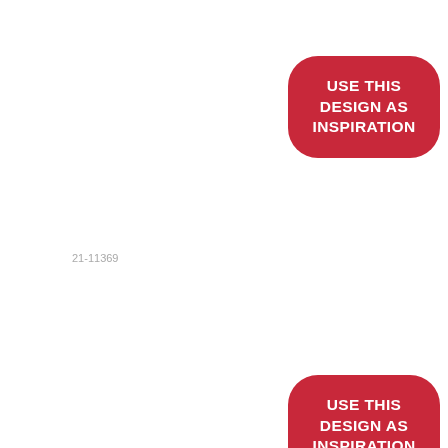[Figure (infographic): Red rounded rectangle badge with white bold text reading USE THIS DESIGN AS INSPIRATION, positioned upper right]
21-11369
[Figure (infographic): Red rounded rectangle badge with white bold text reading USE THIS DESIGN AS INSPIRATION, positioned mid right]
21-11061
[Figure (infographic): Red rounded rectangle badge with white bold text reading USE THIS DESIGN AS INSPIRATION, positioned lower right]
21-11375
[Figure (infographic): Red rounded rectangle badge with white bold text reading USE THIS (partially visible at bottom)]